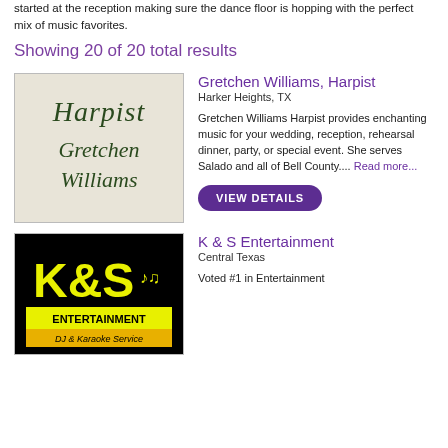started at the reception making sure the dance floor is hopping with the perfect mix of music favorites.
Showing 20 of 20 total results
[Figure (logo): Harpist Gretchen Williams logo — cursive text on beige background]
Gretchen Williams, Harpist
Harker Heights, TX
Gretchen Williams Harpist provides enchanting music for your wedding, reception, rehearsal dinner, party, or special event. She serves Salado and all of Bell County.... Read more...
[Figure (logo): K & S Entertainment logo — yellow text on black background, DJ & Karaoke Service]
K & S Entertainment
Central Texas
Voted #1 in Entertainment